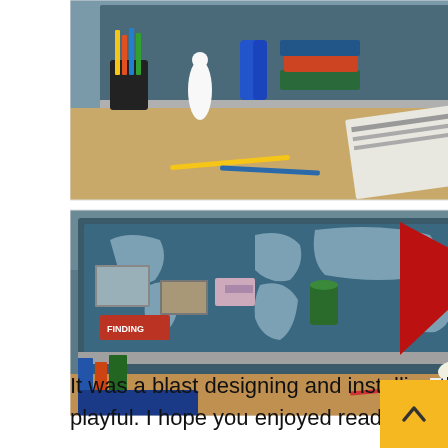[Figure (photo): Two-part photo of a child's bedroom desk area. Top photo shows a wooden desk with pencils, colored markers, a bowling pin figurine, blue scissors, books, and papers with a corkboard/bulletin board behind. Bottom photo shows a corkboard with a world map, a red 'READ MORE BOOKS' pennant, photos and cards pinned to it, and a desk shelf below with stacked books, a small lamp, alphabet blocks, and a blue storage bin.]
It was a blast designing and installing this bedroom. The space feels really fun and playful. I hope you enjoyed reading about it and got some ideas if you're tackling a